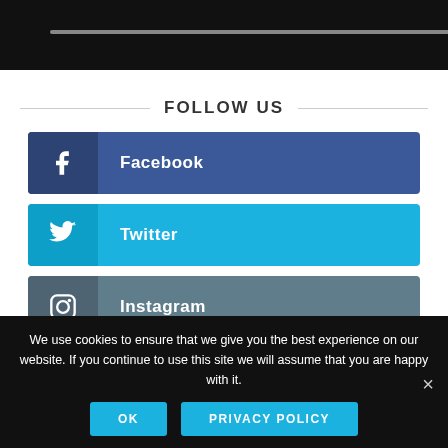[Figure (screenshot): Video player bar with dark background and progress bar]
FOLLOW US
Facebook
Twitter
Instagram
Pinterest
We use cookies to ensure that we give you the best experience on our website. If you continue to use this site we will assume that you are happy with it.
OK  PRIVACY POLICY